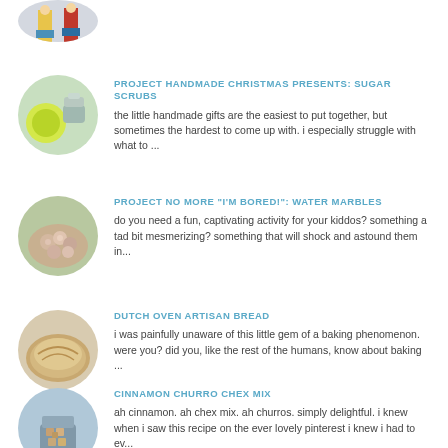[Figure (photo): Circular thumbnail of decorative Christmas nutcrackers, partially cropped at top]
[Figure (photo): Circular thumbnail of lemons and metal tins for sugar scrubs]
PROJECT HANDMADE CHRISTMAS PRESENTS: SUGAR SCRUBS
the little handmade gifts are the easiest to put together, but sometimes the hardest to come up with. i especially struggle with what to ...
[Figure (photo): Circular thumbnail of water marbles held in a hand]
PROJECT NO MORE "I'M BORED!": WATER MARBLES
do you need a fun, captivating activity for your kiddos? something a tad bit mesmerizing? something that will shock and astound them in...
[Figure (photo): Circular thumbnail of artisan bread loaf]
DUTCH OVEN ARTISAN BREAD
i was painfully unaware of this little gem of a baking phenomenon. were you? did you, like the rest of the humans, know about baking ...
[Figure (photo): Circular thumbnail of cinnamon churro chex mix in a tin]
CINNAMON CHURRO CHEX MIX
ah cinnamon. ah chex mix. ah churros. simply delightful. i knew when i saw this recipe on the ever lovely pinterest i knew i had to ev...